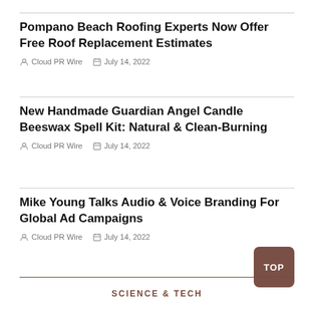Pompano Beach Roofing Experts Now Offer Free Roof Replacement Estimates
Cloud PR Wire   July 14, 2022
New Handmade Guardian Angel Candle Beeswax Spell Kit: Natural & Clean-Burning
Cloud PR Wire   July 14, 2022
Mike Young Talks Audio & Voice Branding For Global Ad Campaigns
Cloud PR Wire   July 14, 2022
SCIENCE & TECH